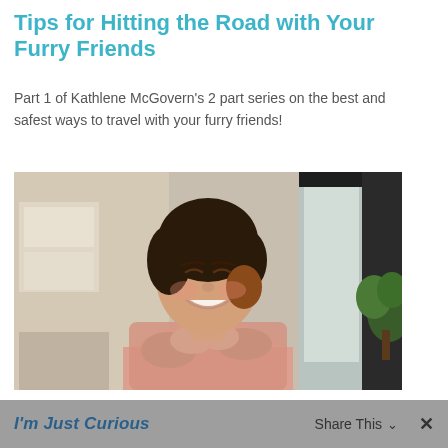Tips for Hitting the Road with Your Furry Friends
Part 1 of Kathlene McGovern’s 2 part series on the best and safest ways to travel with your furry friends!
[Figure (photo): A smiling woman with eyes closed, hands crossed over her chest, in a home interior setting with plants and windows in the background.]
I’m Just Curious   Share This ∨   ×